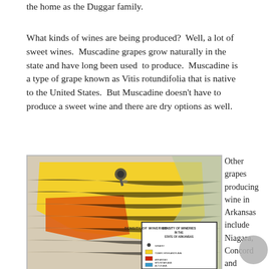the home as the Duggar family.
What kinds of wines are being produced?  Well, a lot of sweet wines.  Muscadine grapes grow naturally in the state and have long been used to produce.  Muscadine is a type of grape known as Vitis rotundifolia that is native to the United States.  But Muscadine doesn't have to produce a sweet wine and there are dry options as well.
[Figure (map): Map showing density of wineries in the State of Arkansas, with a legend indicating winery locations, Ozark Highlands AVA (yellow), Arkansas Mountain AVA (red/orange), and Altus AVA (blue). A pushpin icon appears at the top of the map.]
Other grapes producing wine in Arkansas include Niagara, Concord and Delaware which are park of the Vitis